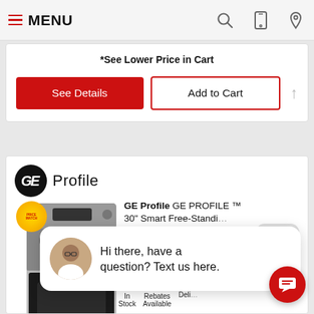MENU
*See Lower Price in Cart
See Details
Add to Cart
[Figure (screenshot): GE Profile brand logo (black circle with GE monogram) and 'Profile' wordmark]
GE Profile GE PROFILE ™ 30" Smart Free-Standing Electric Convection
close
Hi there, have a question? Text us here.
Store Specials
In Stock
Rebates Available
Deli...